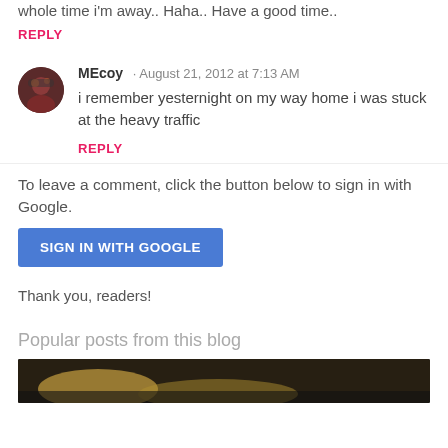whole time i'm away.. Haha.. Have a good time..
REPLY
MEcoy · August 21, 2012 at 7:13 AM
i remember yesternight on my way home i was stuck at the heavy traffic
REPLY
To leave a comment, click the button below to sign in with Google.
SIGN IN WITH GOOGLE
Thank you, readers!
Popular posts from this blog
[Figure (photo): Partial photo thumbnail at bottom of page]